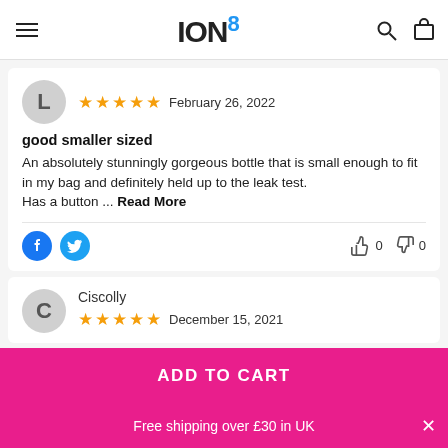ION8
L — ★★★★★ February 26, 2022
good smaller sized
An absolutely stunningly gorgeous bottle that is small enough to fit in my bag and definitely held up to the leak test.
Has a button ... Read More
👍 0  👎 0
Ciscolly
★★★★★ December 15, 2021
ADD TO CART
Free shipping over £30 in UK